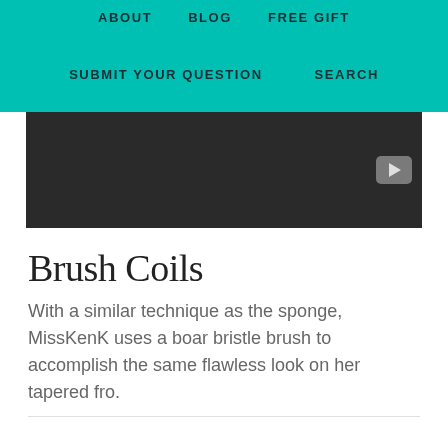ABOUT   BLOG   FREE GIFT   SUBMIT YOUR QUESTION   SEARCH
[Figure (screenshot): Video player thumbnail with dark/black background and a grey play button in the lower right corner]
Brush Coils
With a similar technique as the sponge, MissKenK uses a boar bristle brush to accomplish the same flawless look on her tapered fro.